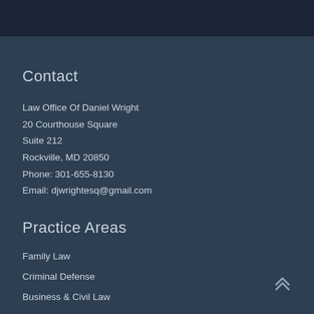Contact
Law Office Of Daniel Wright
20 Courthouse Square
Suite 212
Rockville, MD 20850
Phone: 301-655-8130
Email: djwrightesq@gmail.com
Practice Areas
Family Law
Criminal Defense
Business & Civil Law